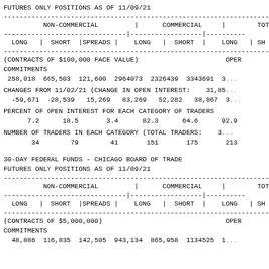FUTURES ONLY POSITIONS AS OF 11/09/21
| NON-COMMERCIAL (LONG | SHORT | SPREADS) | COMMERCIAL (LONG | SHORT) | TOTAL (LONG | SH...) |
| --- | --- | --- |
| 258,018 | 665,503 | 121,600 | 2964073 | 2326439 | 3343691 | 3... |
(CONTRACTS OF $100,000 FACE VALUE)   OPEN
COMMITMENTS
 258,018  665,503  121,600  2964073  2326439  3343691  3...
CHANGES FROM 11/02/21 (CHANGE IN OPEN INTEREST:   31,85...
  -59,671  -28,539   15,269   83,269   52,282   38,867  3...
PERCENT OF OPEN INTEREST FOR EACH CATEGORY OF TRADERS
      7.2      18.5       3.4      82.3      64.6      92.9
NUMBER OF TRADERS IN EACH CATEGORY (TOTAL TRADERS:   3...
       34        79        41       151       175       213
30-DAY FEDERAL FUNDS - CHICAGO BOARD OF TRADE
FUTURES ONLY POSITIONS AS OF 11/09/21
| NON-COMMERCIAL (LONG | SHORT | SPREADS) | COMMERCIAL (LONG | SHORT) | TOTAL (LONG | SH...) |
| --- | --- | --- |
| 48,886 | 116,835 | 142,505 | 943,134 | 865,958 | 1134525 | 1... |
(CONTRACTS OF $5,000,000)   OPEN
COMMITMENTS
  48,886  116,835  142,505  943,134  865,958  1134525  1...